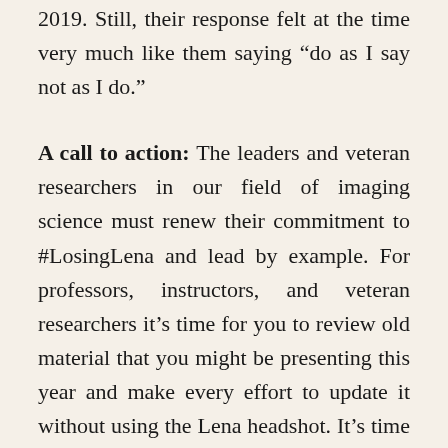2019. Still, their response felt at the time very much like them saying “do as I say not as I do.”
A call to action: The leaders and veteran researchers in our field of imaging science must renew their commitment to #LosingLena and lead by example. For professors, instructors, and veteran researchers it’s time for you to review old material that you might be presenting this year and make every effort to update it without using the Lena headshot. It’s time for the IEEE to make the same pledge that other academic organizations made 3 years ago. And it’s time for Nature, SPIE, and IS&T to